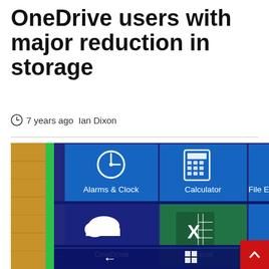OneDrive users with major reduction in storage
7 years ago  Ian Dixon
[Figure (photo): Close-up photo of a Windows 10 Mobile phone screen showing app tiles including Alarms & Clock, Calculator, File Explorer, OneDrive, Excel, and Get apps. The phone has a green case and a wooden surface is visible in the background.]